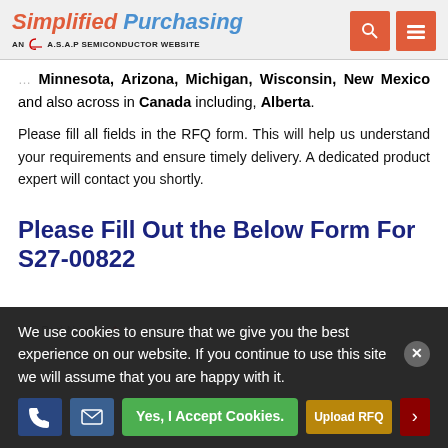Simplified Purchasing — AN A.S.A.P SEMICONDUCTOR WEBSITE
Minnesota, Arizona, Michigan, Wisconsin, New Mexico and also across in Canada including, Alberta.
Please fill all fields in the RFQ form. This will help us understand your requirements and ensure timely delivery. A dedicated product expert will contact you shortly.
Please Fill Out the Below Form For S27-00822
We use cookies to ensure that we give you the best experience on our website. If you continue to use this site we will assume that you are happy with it.
Yes, I Accept Cookies.